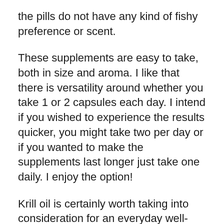the pills do not have any kind of fishy preference or scent.
These supplements are easy to take, both in size and aroma. I like that there is versatility around whether you take 1 or 2 capsules each day. I intend if you wished to experience the results quicker, you might take two per day or if you wanted to make the supplements last longer just take one daily. I enjoy the option!
Krill oil is certainly worth taking into consideration for an everyday well-rounded support supplement. Whether you are searching for skin assistance, heart support, cognitive support, joint support or another thing, VitaPost Krill Oil Plus has something